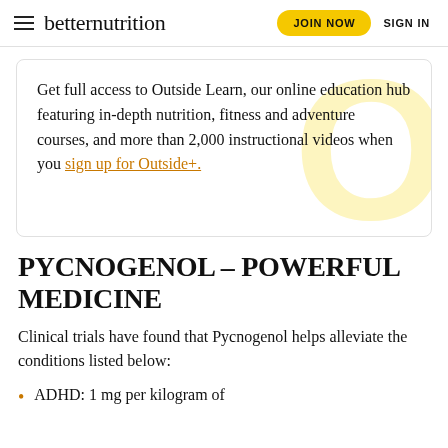betternutrition  JOIN NOW  SIGN IN
Get full access to Outside Learn, our online education hub featuring in-depth nutrition, fitness and adventure courses, and more than 2,000 instructional videos when you sign up for Outside+.
PYCNOGENOL – POWERFUL MEDICINE
Clinical trials have found that Pycnogenol helps alleviate the conditions listed below:
ADHD: 1 mg per kilogram of